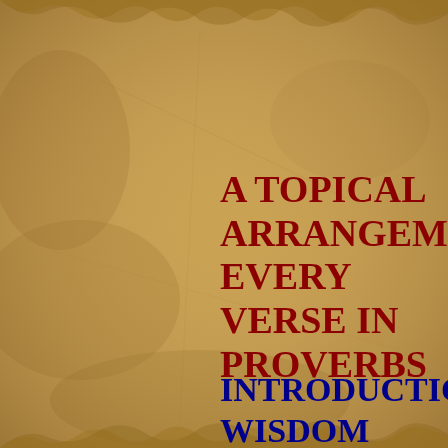[Figure (illustration): Aged parchment / papyrus textured background in brown and tan tones with torn edges at top and bottom]
A TOPICAL ARRANGEMENT EVERY VERSE IN PROVERBS
INTRODUCTION WISDOM